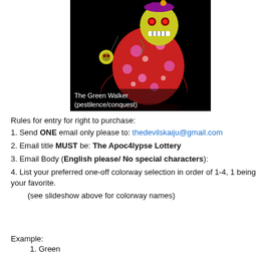[Figure (photo): Colorful toy figure called The Green Walker (pestilence/conquest) — a monster/kaiju toy with skull face, red and pink spotted body, holding a small figure, on black background.]
The Green Walker (pestilence/conquest)
Rules for entry for right to purchase:
1. Send ONE email only please to: thedevilskaiju@gmail.com
2. Email title MUST be: The Apoc4lypse Lottery
3. Email Body (English please/ No special characters):
4. List your preferred one-off colorway selection in order of 1-4, 1 being your favorite.
(see slideshow above for colorway names)
Example:
1. Green